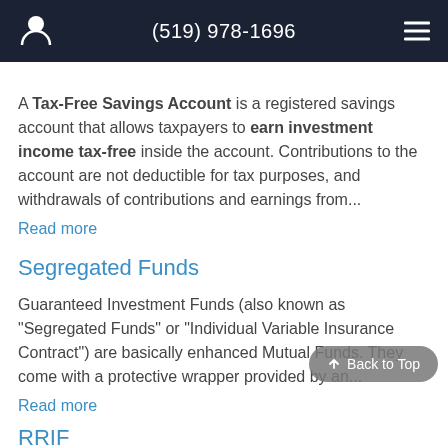(519) 978-1696
A Tax-Free Savings Account is a registered savings account that allows taxpayers to earn investment income tax-free inside the account. Contributions to the account are not deductible for tax purposes, and withdrawals of contributions and earnings from...
Read more
Segregated Funds
Guaranteed Investment Funds (also known as "Segregated Funds" or "Individual Variable Insurance Contract") are basically enhanced Mutual Funds. They come with a protective wrapper provided by an...
Read more
RRIF